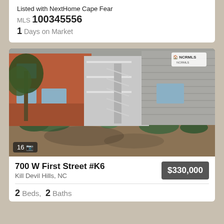Listed with NextHome Cape Fear
MLS 100345556
1 Days on Market
[Figure (photo): Exterior photo of a multi-story building with orange/red siding and white balconies with staircase, surrounded by trees and mulched ground. NCRMLS logo visible in upper right corner. Badge showing 16 photos.]
700 W First Street #K6
Kill Devil Hills, NC
$330,000
2 Beds, 2 Baths